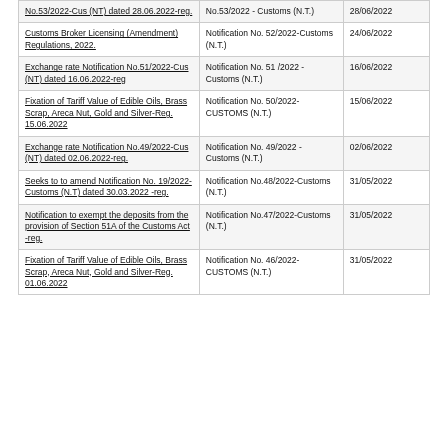| No.53/2022-Cus (NT) dated 28.06.2022-reg. | No.53/2022 - Customs (N.T.) | 28/06/2022 |
| Customs Broker Licensing (Amendment) Regulations, 2022. | Notification No. 52/2022-Customs (N.T.) | 24/06/2022 |
| Exchange rate Notification No.51/2022-Cus (NT) dated 16.06.2022-reg | Notification No. 51 /2022 - Customs (N.T.) | 16/06/2022 |
| Fixation of Tariff Value of Edible Oils, Brass Scrap, Areca Nut, Gold and Silver-Reg. 15.06.2022 | Notification No. 50/2022-CUSTOMS (N.T.) | 15/06/2022 |
| Exchange rate Notification No.49/2022-Cus (NT) dated 02.06.2022-reg. | Notification No. 49/2022 - Customs (N.T.) | 02/06/2022 |
| Seeks to to amend Notification No. 19/2022-Customs (N.T) dated 30.03.2022 -reg. | Notification No.48/2022-Customs (N.T.) | 31/05/2022 |
| Notification to exempt the deposits from the provision of Section 51A of the Customs Act -reg. | Notification No.47/2022-Customs (N.T.) | 31/05/2022 |
| Fixation of Tariff Value of Edible Oils, Brass Scrap, Areca Nut, Gold and Silver-Reg. 01.06.2022 | Notification No. 46/2022-CUSTOMS (N.T.) | 31/05/2022 |